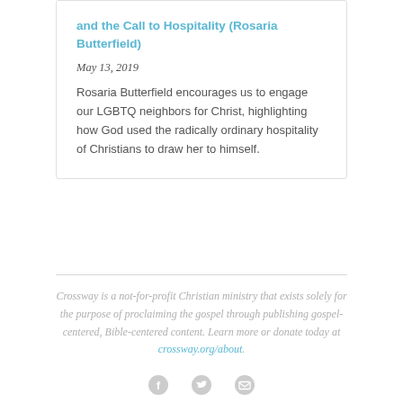and the Call to Hospitality (Rosaria Butterfield)
May 13, 2019
Rosaria Butterfield encourages us to engage our LGBTQ neighbors for Christ, highlighting how God used the radically ordinary hospitality of Christians to draw her to himself.
Crossway is a not-for-profit Christian ministry that exists solely for the purpose of proclaiming the gospel through publishing gospel-centered, Bible-centered content. Learn more or donate today at crossway.org/about.